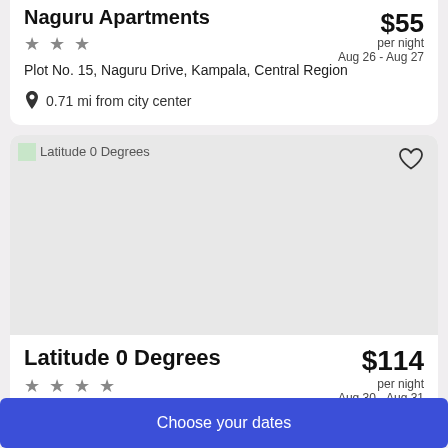Naguru Apartments — $55 per night, Aug 26 - Aug 27
★★★
Plot No. 15, Naguru Drive, Kampala, Central Region
0.71 mi from city center
[Figure (photo): Hotel image placeholder for Latitude 0 Degrees with broken image icon]
Latitude 0 Degrees
★★★★
$114 per night, Aug 30 - Aug 31
Plot 64 & 66 Kyandondo, Block 273 Mobutu Road, Makindye, Kampala, Central Region
Choose your dates